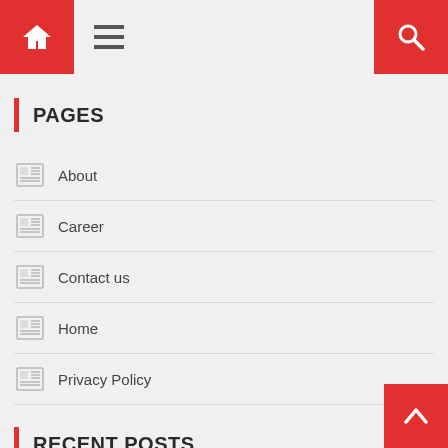Navigation bar with home icon, hamburger menu, and search icon
PAGES
About
Career
Contact us
Home
Privacy Policy
RECENT POSTS
Know-How To Repost The Story On IG & How You Can Make Your